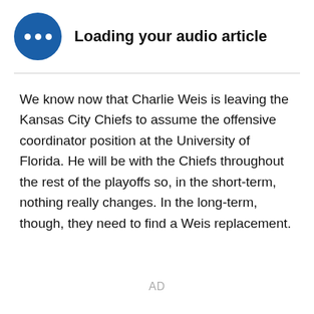[Figure (illustration): Audio article player widget: dark blue circle with three white dots (loading indicator) next to bold text 'Loading your audio article']
We know now that Charlie Weis is leaving the Kansas City Chiefs to assume the offensive coordinator position at the University of Florida. He will be with the Chiefs throughout the rest of the playoffs so, in the short-term, nothing really changes. In the long-term, though, they need to find a Weis replacement.
AD